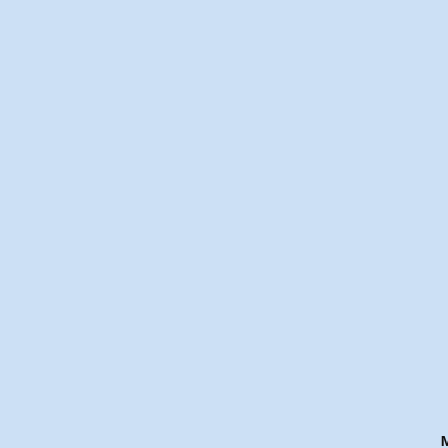[Figure (screenshot): Dark navy blue sidebar with textured background on the left side of the page]
[Figure (screenshot): Light blue chat area panel in the center of the page]
9:57 pm
August 4, 2013
Master cheef666
i am sorry for banning joystick, pokemon, and zolton. and myself in the proses. rob and john. please forgive me,
bad ide